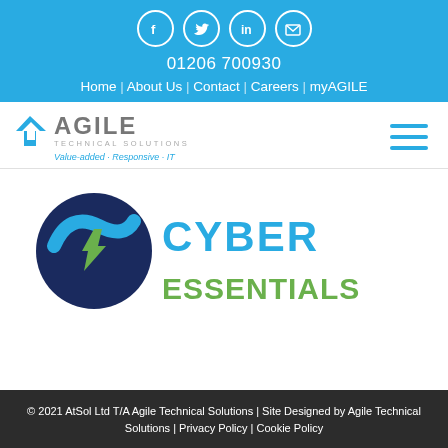Social icons: Facebook, Twitter, LinkedIn, Email | 01206 700930 | Home | About Us | Contact | Careers | myAGILE
[Figure (logo): Agile Technical Solutions logo with blue arrow icon and tagline Value-added - Responsive - IT, and hamburger menu icon]
[Figure (logo): Cyber Essentials logo with dark blue circle containing a green checkmark and blue swoosh, with CYBER ESSENTIALS text in teal/green]
© 2021 AtSol Ltd T/A Agile Technical Solutions | Site Designed by Agile Technical Solutions | Privacy Policy | Cookie Policy